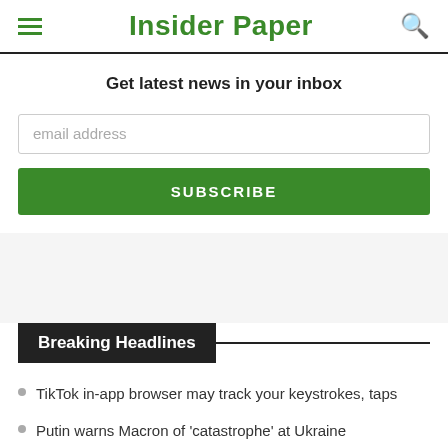Insider Paper
Get latest news in your inbox
email address
SUBSCRIBE
Breaking Headlines
TikTok in-app browser may track your keystrokes, taps
Putin warns Macron of 'catastrophe' at Ukraine